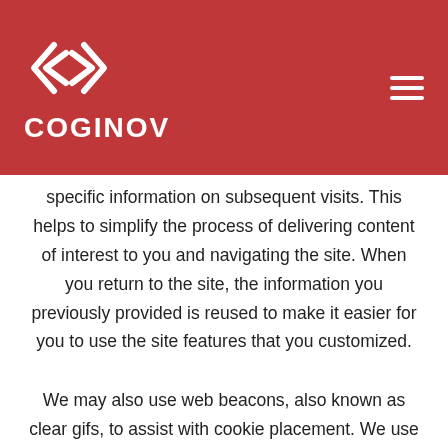[Figure (logo): Coginov logo with diamond/arrow icon and text COGINOV on red header background, with hamburger menu icon top right]
specific information on subsequent visits. This helps to simplify the process of delivering content of interest to you and navigating the site. When you return to the site, the information you previously provided is reused to make it easier for you to use the site features that you customized.
We may also use web beacons, also known as clear gifs, to assist with cookie placement. We use this technology as a tool to compile statistics about the use of the Site. These statistics include the number of visitors who clicked on key elements (e.g., links or